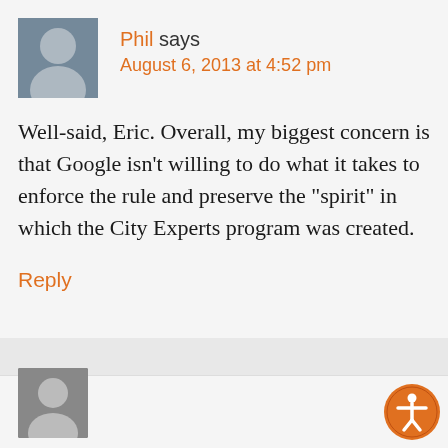Phil says
August 6, 2013 at 4:52 pm
Well-said, Eric. Overall, my biggest concern is that Google isn't willing to do what it takes to enforce the rule and preserve the “spirit” in which the City Experts program was created.
Reply